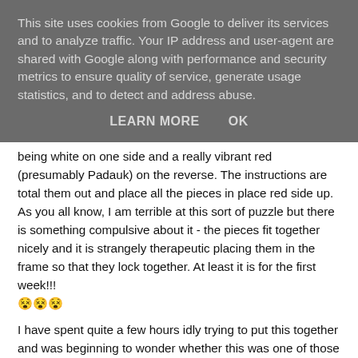This site uses cookies from Google to deliver its services and to analyze traffic. Your IP address and user-agent are shared with Google along with performance and security metrics to ensure quality of service, generate usage statistics, and to detect and address abuse.
LEARN MORE    OK
being white on one side and a really vibrant red (presumably Padauk) on the reverse. The instructions are total them out and place all the pieces in place red side up. As you all know, I am terrible at this sort of puzzle but there is something compulsive about it - the pieces fit together nicely and it is strangely therapeutic placing them in the frame so that they lock together. At least it is for the first week!!! 😵😵😵
I have spent quite a few hours idly trying to put this together and was beginning to wonder whether this was one of those impossible puzzles that I have been a victim of before. I always would get extremely close and yet there was always one voxel in the wrong place;